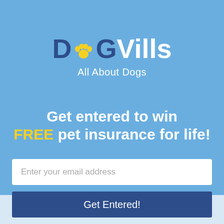[Figure (logo): DogVills logo with paw print replacing the 'o' in Dog, tagline 'All About Dogs']
Get entered to win FREE pet insurance for life!
Enter your email address
Get Entered!